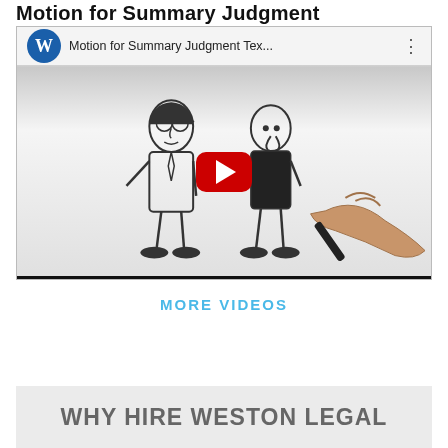Motion for Summary Judgment
[Figure (screenshot): YouTube video thumbnail showing a YouTube player with title 'Motion for Summary Judgment Tex...' and a Weston Legal (W) channel logo. The video thumbnail shows two cartoon characters and a hand holding a marker, with a red YouTube play button in the center.]
MORE VIDEOS
WHY HIRE WESTON LEGAL